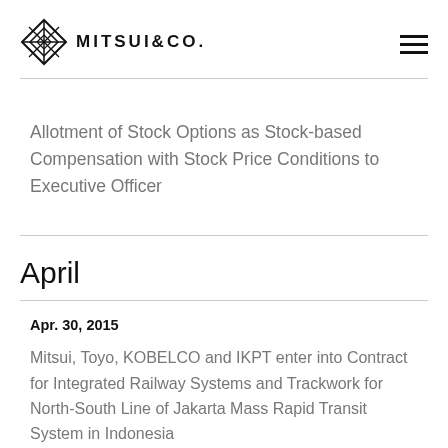MITSUI & CO.
Allotment of Stock Options as Stock-based Compensation with Stock Price Conditions to Executive Officer
April
Apr. 30, 2015
Mitsui, Toyo, KOBELCO and IKPT enter into Contract for Integrated Railway Systems and Trackwork for North-South Line of Jakarta Mass Rapid Transit System in Indonesia